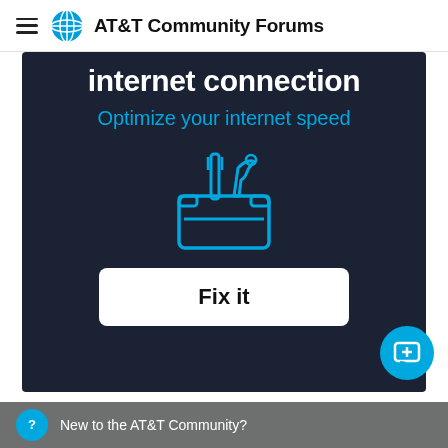AT&T Community Forums
[Figure (screenshot): Dark navy banner showing partial text 'internet connection', subtitle 'Optimize your internet speed' in blue, a white outline toolbox/wrench icon, and a white 'Fix it' button on dark background]
[Figure (other): Teal circular chat button with a plus icon, in bottom right corner]
New to the AT&T Community?